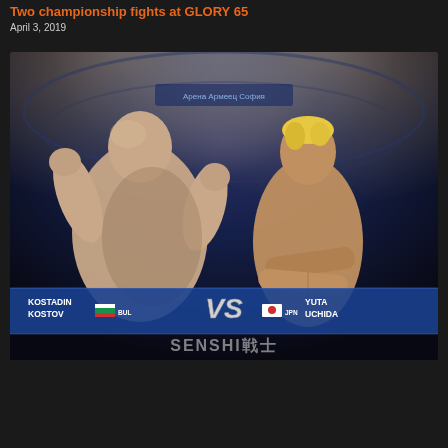Two championship fights at GLORY 65
April 3, 2019
[Figure (photo): Promotional fight poster showing two fighters facing off: Kostadin Kostov (BUL) on the left and Yuta Uchida (JPN) on the right, with 'VS' graphic in the middle, SENSHI战士 branding at the bottom, set against an arena background.]
Kostadin Kostov vs. Yuta Uchida at SENSHI II